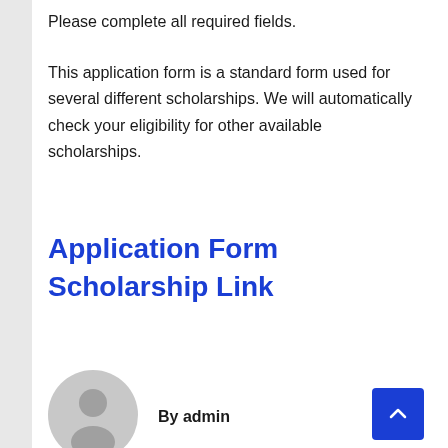Please complete all required fields.
This application form is a standard form used for several different scholarships. We will automatically check your eligibility for other available scholarships.
Application Form Scholarship Link
[Figure (illustration): Grey circular avatar icon showing a generic user silhouette]
By admin